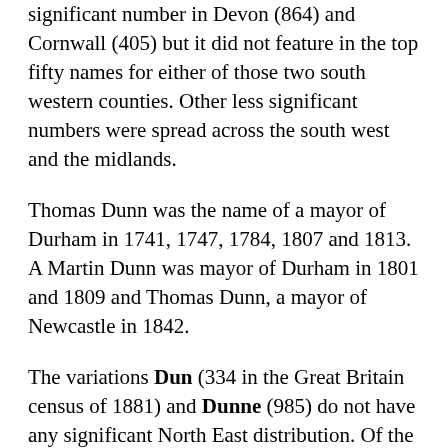significant number in Devon (864) and Cornwall (405) but it did not feature in the top fifty names for either of those two south western counties. Other less significant numbers were spread across the south west and the midlands.
Thomas Dunn was the name of a mayor of Durham in 1741, 1747, 1784, 1807 and 1813. A Martin Dunn was mayor of Durham in 1801 and 1809 and Thomas Dunn, a mayor of Newcastle in 1842.
The variations Dun (334 in the Great Britain census of 1881) and Dunne (985) do not have any significant North East distribution. Of the 334 people called Dun in 1881 there were 158 in residing in Scotland with the rest scattered across England. Dunne however did have a northern England presence with 437 of the 985 people of this name living in Lancashire and 100 living in Yorkshire. Scotland was home to only 57. In Northumberland there were only 13 people called Dunne, Durham 23 and Cumberland 29. Most of the rest lived